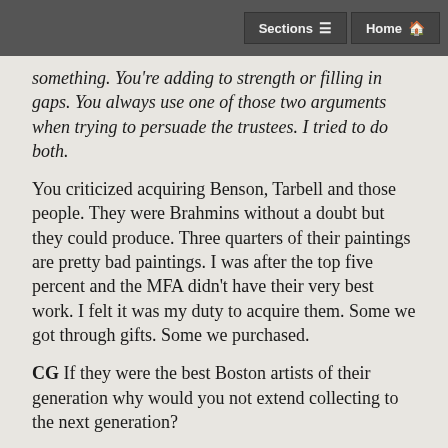Sections  Home
something. You're adding to strength or filling in gaps. You always use one of those two arguments when trying to persuade the trustees. I tried to do both.
You criticized acquiring Benson, Tarbell and those people. They were Brahmins without a doubt but they could produce. Three quarters of their paintings are pretty bad paintings. I was after the top five percent and the MFA didn't have their very best work. I felt it was my duty to acquire them. Some we got through gifts. Some we purchased.
CG If they were the best Boston artists of their generation why would you not extend collecting to the next generation?
TS We already had that discussion. I don't